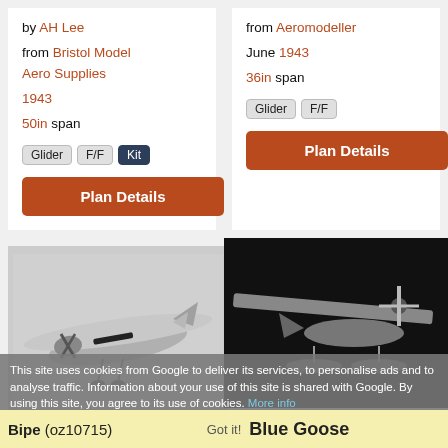by AH Lee
from Bristol Model Aero Supplies
1943
50in span
Glider  F/F  Kit
Plan Details
from Aeromodeller
June 1943
36in span
Glider  F/F
Plan Details
[Figure (photo): Black and white photo of a model airplane (high-wing monoplane with engine) viewed from above-rear angle]
[Figure (photo): Black and white photo of a model flying boat/seaplane with large propeller and floats]
This site uses cookies from Google to deliver its services, to personalise ads and to analyse traffic. Information about your use of this site is shared with Google. By using this site, you agree to its use of cookies. More info
Bipe (oz10715)   Got it!   Blue Goose